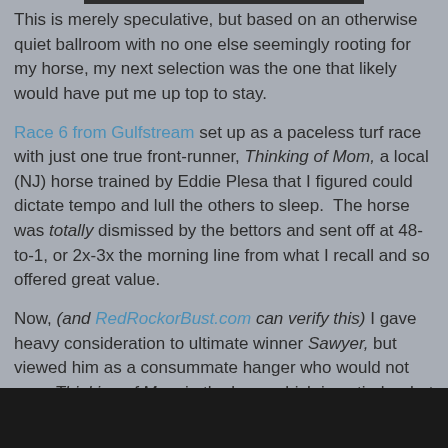This is merely speculative, but based on an otherwise quiet ballroom with no one else seemingly rooting for my horse, my next selection was the one that likely would have put me up top to stay.
Race 6 from Gulfstream set up as a paceless turf race with just one true front-runner, Thinking of Mom, a local (NJ) horse trained by Eddie Plesa that I figured could dictate tempo and lull the others to sleep. The horse was totally dismissed by the bettors and sent off at 48-to-1, or 2x-3x the morning line from what I recall and so offered great value.
Now, (and RedRockorBust.com can verify this) I gave heavy consideration to ultimate winner Sawyer, but viewed him as a consummate hanger who would not pass Thinking of Mom in the lane, which is entirely what happened, even though Thinking of Mom set dawdling fractions conducive for this slightly "lower class" horse to wire the field. She was courageous, but just tired in the end.
[Figure (photo): Dark image/photo at the bottom of the page, partially visible]